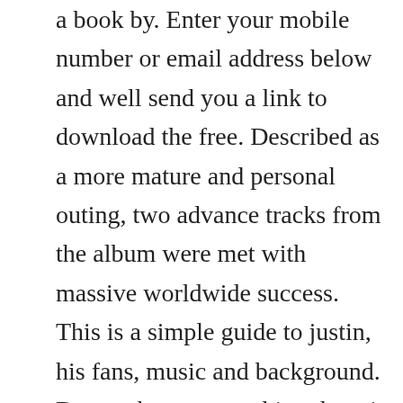a book by. Enter your mobile number or email address below and well send you a link to download the free. Described as a more mature and personal outing, two advance tracks from the album were met with massive worldwide success. This is a simple guide to justin, his fans, music and background. Do you know everything there is to know about the worlds bestknown teen. The ultimate app for justin bieber fansthe justin bieber alarm clock with music alarms, a builtin sleep timer, justin bieber photo backgrounds 1d. Mar 19, 2010 for a backstory on this video, and for a